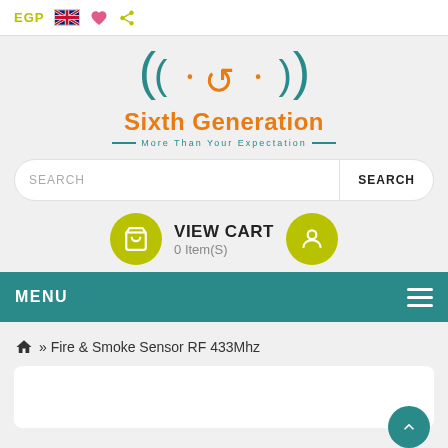EGP [UK flag] [heart] [share]
[Figure (logo): Sixth Generation logo with teal circular arrows icon and orange text. Tagline: More Than Your Expectation]
SEARCH [search button]
VIEW CART 0 Item(S)
MENU
» Fire & Smoke Sensor RF 433Mhz